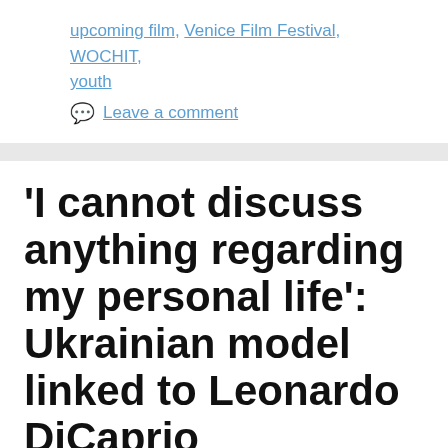upcoming film, Venice Film Festival, WOCHIT, youth
Leave a comment
'I cannot discuss anything regarding my personal life': Ukrainian model linked to Leonardo DiCaprio
September 2, 2022 by x99news